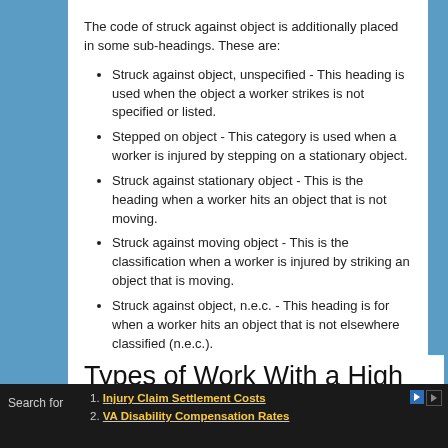The code of struck against object is additionally placed in some sub-headings. These are:
Struck against object, unspecified - This heading is used when the object a worker strikes is not specified or listed.
Stepped on object - This category is used when a worker is injured by stepping on a stationary object.
Struck against stationary object - This is the heading when a worker hits an object that is not moving.
Struck against moving object - This is the classification when a worker is injured by striking an object that is moving.
Struck against object, n.e.c. - This heading is for when a worker hits an object that is not elsewhere classified (n.e.c.).
Types of Work With a High Risk of a Struck Against Object Injury
Search for
1. Injury Claim Settlement Costs
2. VA Disability Compensation Rates